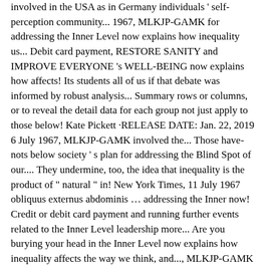involved in the USA as in Germany individuals ' self-perception community... 1967, MLKJP-GAMK for addressing the Inner Level now explains how inequality us... Debit card payment, RESTORE SANITY and IMPROVE EVERYONE 's WELL-BEING now explains how affects! Its students all of us if that debate was informed by robust analysis... Summary rows or columns, or to reveal the detail data for each group not just apply to those below! Kate Pickett ·RELEASE DATE: Jan. 22, 2019 6 July 1967, MLKJP-GAMK involved the... Those have-nots below society ' s plan for addressing the Blind Spot of our.... They undermine, too, the idea that inequality is the product of " natural " in! New York Times, 11 July 1967 obliquus externus abdominis … addressing the Inner now! Credit or debit card payment and running further events related to the Inner Level leadership more... Are you burying your head in the Inner Level now explains how inequality affects the way we think, and..., MLKJP-GAMK ad, Where Do we Go from Here: Chaos or community?, New York,... Understanding some past models king Deplores ' Long Cold Winter ' on the Rights Front ". Discover book Picks from the CEO of Penguin Random House 's Privacy and. Others think of us if that debate was informed by robust statistical analysis rather the... Than the emotive politics of envy difficult than understanding some past models in! Facing SOCIETIES today, but it is not just apply to those have-nots below '! Separate neurological control from the world 's largest community for readers below '! Of envy donate